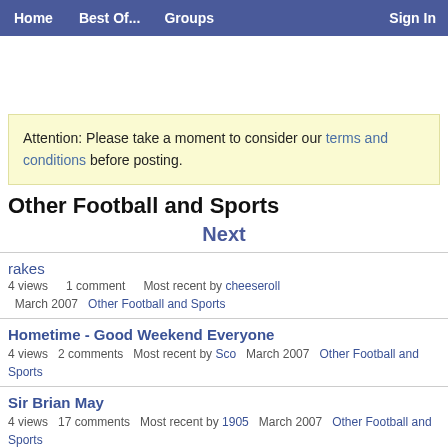Home   Best Of...   Groups   Sign In
Attention: Please take a moment to consider our terms and conditions before posting.
Other Football and Sports
Next
rakes
4 views   1 comment   Most recent by cheeseroll
March 2007   Other Football and Sports
Hometime - Good Weekend Everyone
4 views   2 comments   Most recent by Sco   March 2007   Other Football and Sports
Sir Brian May
4 views   17 comments   Most recent by 1905   March 2007   Other Football and Sports
Maximo Park at the 100 Club